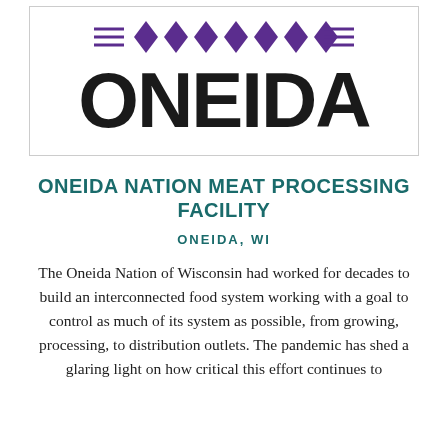[Figure (logo): Oneida Nation logo with purple geometric diamond pattern border on top and bold black ONEIDA wordmark below]
ONEIDA NATION MEAT PROCESSING FACILITY
ONEIDA, WI
The Oneida Nation of Wisconsin had worked for decades to build an interconnected food system working with a goal to control as much of its system as possible, from growing, processing, to distribution outlets. The pandemic has shed a glaring light on how critical this effort continues to